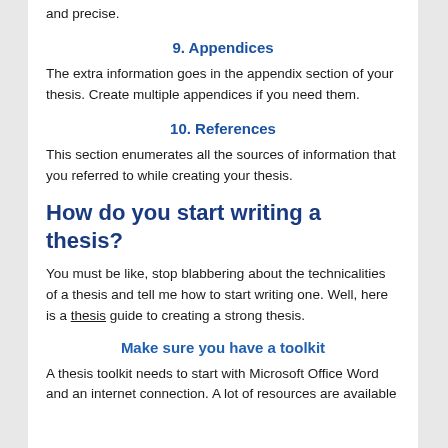and precise.
9. Appendices
The extra information goes in the appendix section of your thesis. Create multiple appendices if you need them.
10. References
This section enumerates all the sources of information that you referred to while creating your thesis.
How do you start writing a thesis?
You must be like, stop blabbering about the technicalities of a thesis and tell me how to start writing one. Well, here is a thesis guide to creating a strong thesis.
Make sure you have a toolkit
A thesis toolkit needs to start with Microsoft Office Word and an internet connection. A lot of resources are available